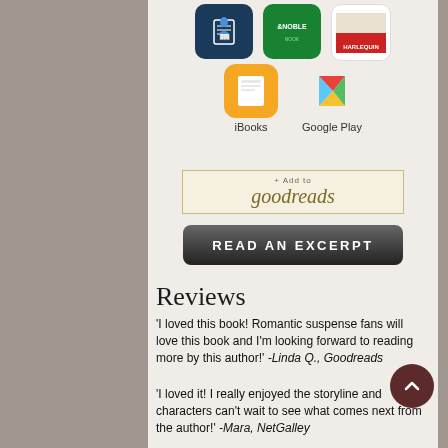[Figure (screenshot): App store icons row: Kindle (dark blue), Barnes & Noble (green), Harlequin (white with logo)]
[Figure (screenshot): iBooks (orange book icon) and Google Play (colored triangle) icons with labels]
[Figure (screenshot): Add to Goodreads button with cream/gold border]
[Figure (screenshot): READ AN EXCERPT dark button]
Reviews
'I loved this book! Romantic suspense fans will love this book and I'm looking forward to reading more by this author!' -Linda Q., Goodreads
'I loved it! I really enjoyed the storyline and characters can't wait to see what comes next from the author!' -Mara, NetGalley
'The 'who is really behind all of this aspect of the story kept me guessing, and I was pleasantly surprised by it...